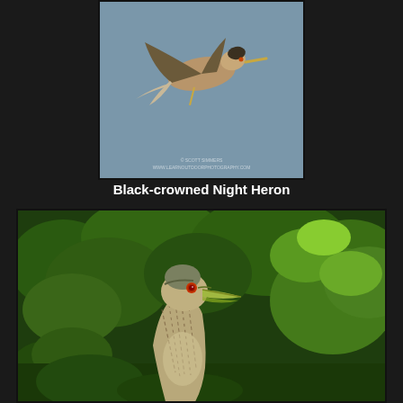[Figure (photo): Black-crowned Night Heron in flight against a blue-gray sky background, photographed by Scott Simmers. Watermark text: © SCOTT SIMMERS / WWW.LEARNOUTDOORPHOTOGRAPHY.COM]
Black-crowned Night Heron
[Figure (photo): Juvenile Black-crowned Night Heron standing among green foliage, showing streaked brown-white plumage, red eye, and yellow-green bill, facing right against lush green vegetation background]